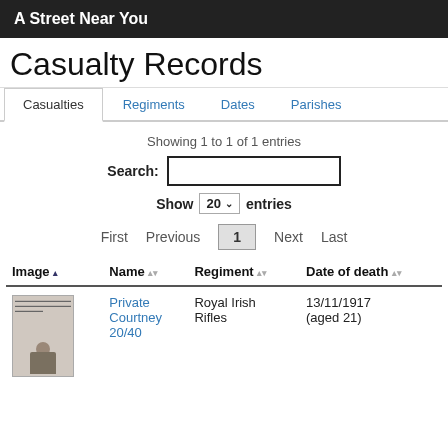A Street Near You
Casualty Records
Casualties  Regiments  Dates  Parishes
Showing 1 to 1 of 1 entries
Search:
Show 20 entries
First  Previous  1  Next  Last
| Image | Name | Regiment | Date of death |
| --- | --- | --- | --- |
| [thumbnail] | Private Courtney 20/40 | Royal Irish Rifles | 13/11/1917 (aged 21) |